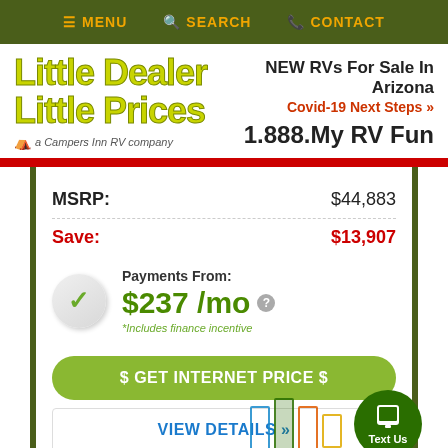≡ MENU  🔍 SEARCH  📞 CONTACT
[Figure (logo): Little Dealer Little Prices logo - yellow-green stylized text with 'a Campers Inn RV company' subtitle]
NEW RVs For Sale In Arizona
Covid-19 Next Steps »
1.888.My RV Fun
MSRP: $44,883
Save: $13,907
Payments From: $237 /mo ?
*Includes finance incentive
$ GET INTERNET PRICE $
VIEW DETAILS »